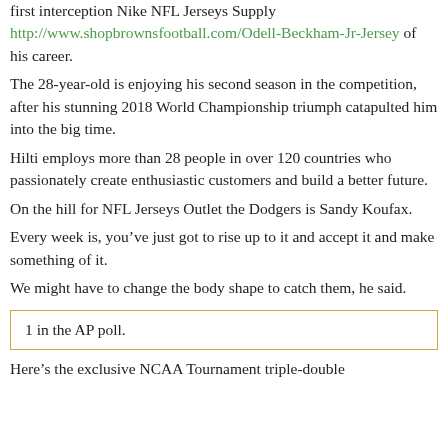first interception Nike NFL Jerseys Supply http://www.shopbrownsfootball.com/Odell-Beckham-Jr-Jersey of his career.
The 28-year-old is enjoying his second season in the competition, after his stunning 2018 World Championship triumph catapulted him into the big time.
Hilti employs more than 28 people in over 120 countries who passionately create enthusiastic customers and build a better future.
On the hill for NFL Jerseys Outlet the Dodgers is Sandy Koufax.
Every week is, you’ve just got to rise up to it and accept it and make something of it.
We might have to change the body shape to catch them, he said.
1 in the AP poll.
Here’s the exclusive NCAA Tournament triple-double